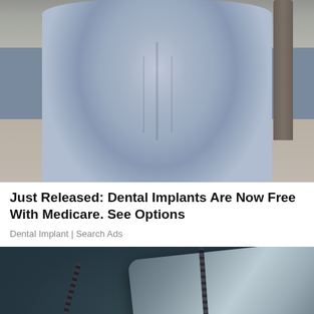[Figure (photo): Photo of a person's torso wearing a light blue/lavender form-fitting short-sleeve top, standing on a sidewalk/street background]
Just Released: Dental Implants Are Now Free With Medicare. See Options
Dental Implant | Search Ads
[Figure (photo): Dark teal/green textured background with a metallic dog tag and bead chain, overlaid with text reading 'CAMP LEJEUNE LEGAL']